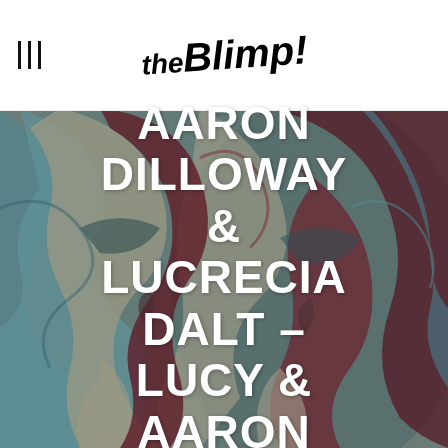the Blimp!
[Figure (illustration): Abstract cubist-style painting showing stylized human faces with swirling shapes in muted teal, dark red/maroon, and cream tones]
AARON DILLOWAY & LUCRECIA DALT – LUCY & AARON